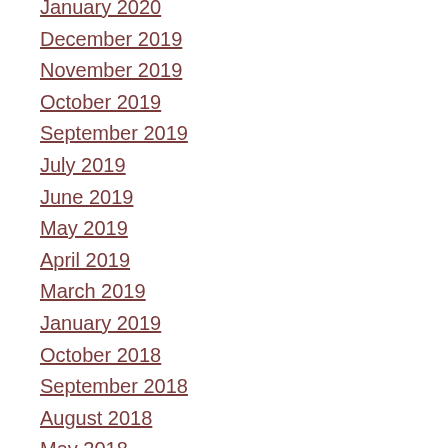January 2020
December 2019
November 2019
October 2019
September 2019
July 2019
June 2019
May 2019
April 2019
March 2019
January 2019
October 2018
September 2018
August 2018
May 2018
April 2018
November 2017
October 2017
August 2017